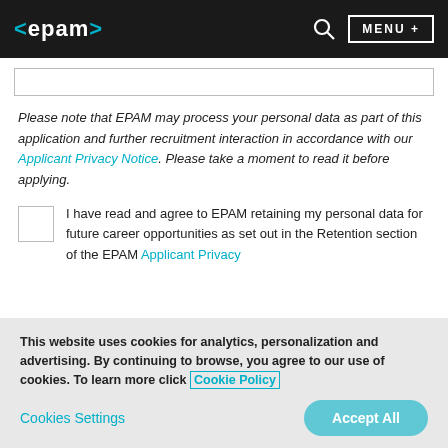<epam> MENU +
Please note that EPAM may process your personal data as part of this application and further recruitment interaction in accordance with our Applicant Privacy Notice. Please take a moment to read it before applying.
I have read and agree to EPAM retaining my personal data for future career opportunities as set out in the Retention section of the EPAM Applicant Privacy
This website uses cookies for analytics, personalization and advertising. By continuing to browse, you agree to our use of cookies. To learn more click Cookie Policy
Cookies Settings | Accept All